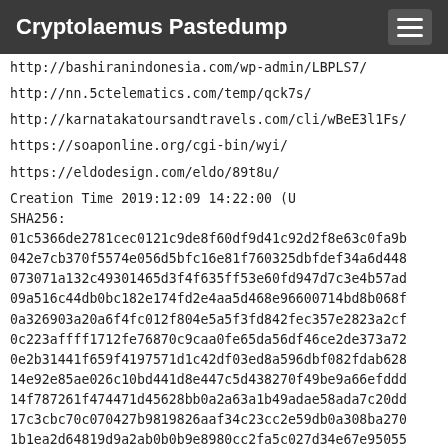Cryptolaemus Pastedump
http://bashiranindonesia.com/wp-admin/LBPLS7/
http://nn.5ctelematics.com/temp/qck7s/
http://karnatakatoursandtravels.com/cli/wBeE3l1Fs/
https://soaponline.org/cgi-bin/wyi/
https://eldodesign.com/eldo/89t8u/
Creation Time    2019:12:09 14:22:00         (U
SHA256:
01c5366de2781cec0121c9de8f60df9d41c92d2f8e63c0fa9b
042e7cb370f5574e056d5bfc16e81f760325dbfdef34a6d448
073071a132c49301465d3f4f635ff53e60fd947d7c3e4b57ad
09a516c44db0bc182e174fd2e4aa5d468e96600714bd8b068f
0a326903a20a6f4fc012f804e5a5f3fd842fec357e2823a2cf
0c223affff1712fe76870c9caa0fe65da56df46ce2de373a72
0e2b31441f659f4197571d1c42df03ed8a596dbf082fdab628
14e92e85ae026c10bd441d8e447c5d438270f49be9a66efddd
14f787261f474471d45628bb0a2a63a1b49adae58ada7c20dd
17c3cbc70c070427b9819826aaf34c23cc2e59db0a308ba270
1b1ea2d64819d9a2ab0b0b9e8980cc2fa5c027d34e67e95055